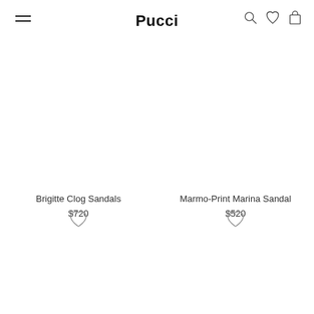Pucci
Brigitte Clog Sandals
$720
Marmo-Print Marina Sandal
$520